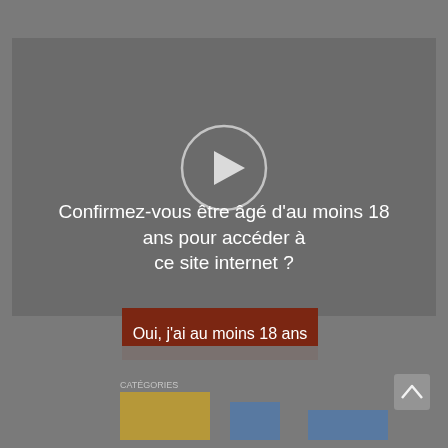[Figure (screenshot): Age verification modal overlay on a website. A grey video thumbnail with a circular play button appears at the top. Below it, white text reads 'Confirmez-vous être âgé d'au moins 18 ans pour accéder à ce site internet ?' followed by a dark red/brown button with white text 'Oui, j'ai au moins 18 ans'. The background is grey and shows partial website content below.]
Confirmez-vous être âgé d'au moins 18 ans pour accéder à ce site internet ?
Oui, j'ai au moins 18 ans